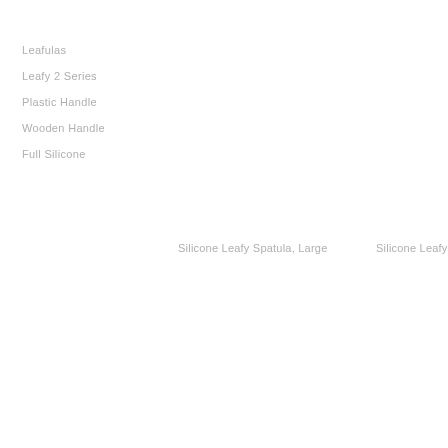Leafulas
Leafy 2 Series
Plastic Handle
Wooden Handle
Full Silicone
Silicone Leafy Spatula, Large
Silicone Leafy S